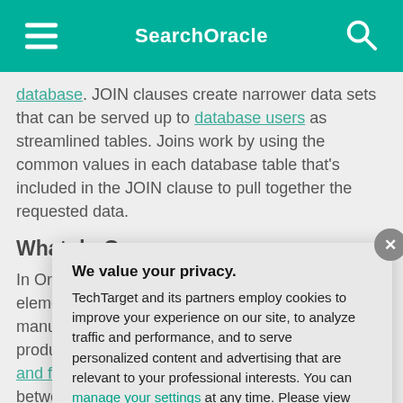SearchOracle
database. JOIN clauses create narrower data sets that can be served up to database users as streamlined tables. Joins work by using the common values in each database table that's included in the JOIN clause to pull together the requested data.
What do Ora…
In Oracle and oth… elements are sto… manufacturer typ… products and or… and foreign keys… between data fie… and analyze the … enable Oracle da… to create a comb…
We value your privacy.
TechTarget and its partners employ cookies to improve your experience on our site, to analyze traffic and performance, and to serve personalized content and advertising that are relevant to your professional interests. You can manage your settings at any time. Please view our Privacy Policy for more information